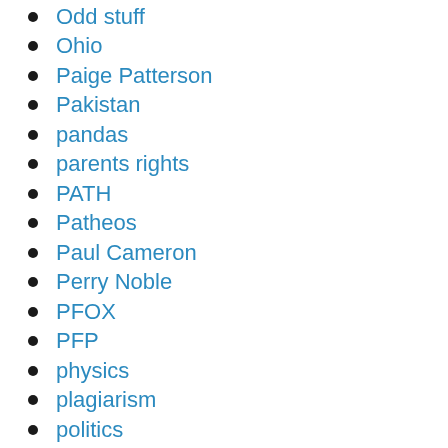Odd stuff
Ohio
Paige Patterson
Pakistan
pandas
parents rights
PATH
Patheos
Paul Cameron
Perry Noble
PFOX
PFP
physics
plagiarism
politics
Portsmouth
Postcards from Phoenix